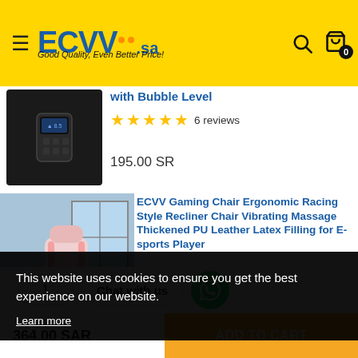[Figure (screenshot): ECVV.sa e-commerce website header with yellow background, hamburger menu, ECVV logo with orange dots, search icon and shopping bag icon with 0 count]
with Bubble Level
★★★★★ 6 reviews
195.00 SR
[Figure (photo): ECVV Gaming Chair - pink/white ergonomic racing style recliner chair in a room setting with computer desk]
ECVV Gaming Chair Ergonomic Racing Style Recliner Chair Vibrating Massage Thickened PU Leather Latex Filling for E-sports Player
This website uses cookies to ensure you get the best experience on our website.
Learn more
1
Chat with us
364.00 SAR
ADD TO CART